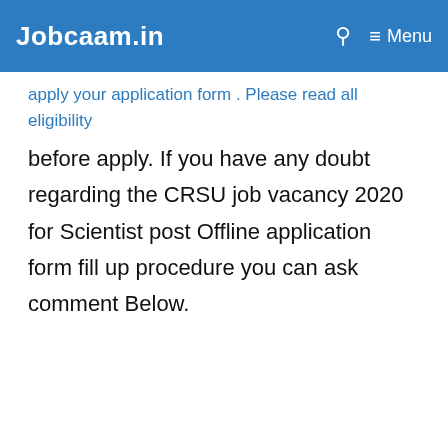Jobcaam.in  🔍  ☰ Menu
apply your application form . Please read all eligibility before apply. If you have any doubt regarding the CRSU job vacancy 2020 for Scientist post Offline application form fill up procedure you can ask comment Below.